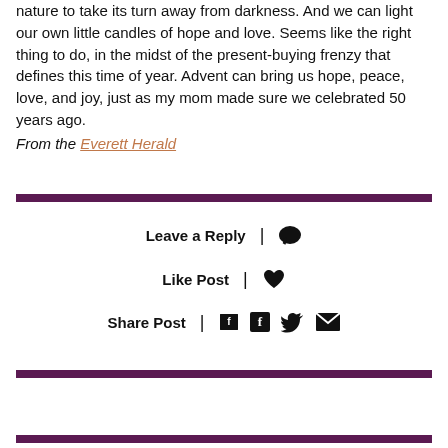nature to take its turn away from darkness. And we can light our own little candles of hope and love. Seems like the right thing to do, in the midst of the present-buying frenzy that defines this time of year. Advent can bring us hope, peace, love, and joy, just as my mom made sure we celebrated 50 years ago.
From the Everett Herald
Leave a Reply
Like Post
Share Post